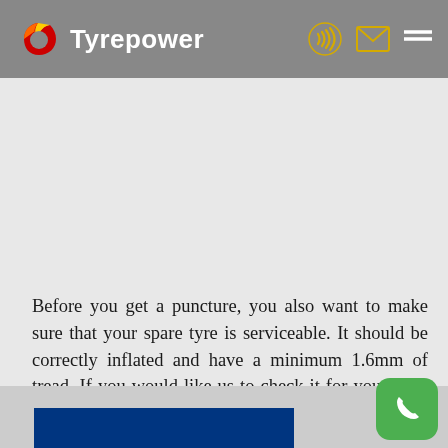Tyrepower
Before you get a puncture, you also want to make sure that your spare tyre is serviceable. It should be correctly inflated and have a minimum 1.6mm of tread. If you would like us to check it for you, don't hesitate to drop by Tyrepower Cooktown for a free tyre check.